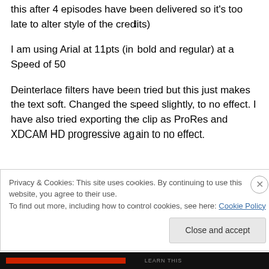this after 4 episodes have been delivered so it's too late to alter style of the credits)
I am using Arial at 11pts (in bold and regular) at a Speed of 50
Deinterlace filters have been tried but this just makes the text soft. Changed the speed slightly, to no effect. I have also tried exporting the clip as ProRes and XDCAM HD progressive again to no effect.
Privacy & Cookies: This site uses cookies. By continuing to use this website, you agree to their use.
To find out more, including how to control cookies, see here: Cookie Policy
Close and accept